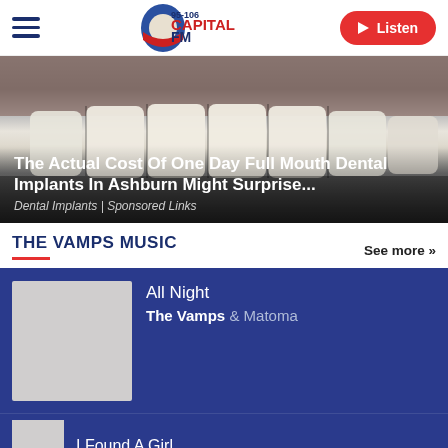[Figure (logo): Capital FM 95-106 radio logo with microphone graphic in blue and red]
[Figure (other): Close-up photo of white teeth/smile for dental implants advertisement]
The Actual Cost Of One Day Full Mouth Dental Implants In Ashburn Might Surprise...
Dental Implants | Sponsored Links
THE VAMPS MUSIC
See more »
All Night
The Vamps & Matoma
I Found A Girl